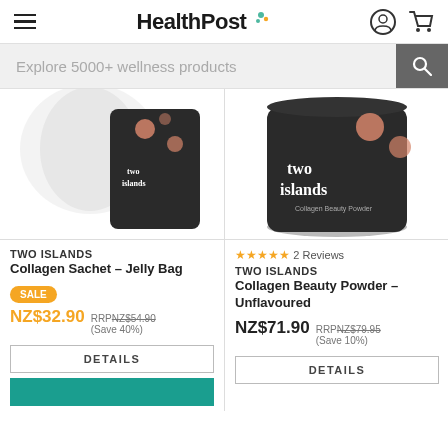HealthPost — navigation header with hamburger menu, logo, user icon and cart icon
Explore 5000+ wellness products
[Figure (photo): Two Islands product with collagen sachet jelly bag packaging — dark cylindrical container with pink dots]
TWO ISLANDS
Collagen Sachet – Jelly Bag
SALE
NZ$32.90
RRP NZ$54.90
(Save 40%)
[Figure (photo): Two Islands product with collagen beauty powder unflavoured — dark cylindrical container with 'two islands' text and pink dots]
★★★★★ 2 Reviews
TWO ISLANDS
Collagen Beauty Powder – Unflavoured
NZ$71.90
RRP NZ$79.95
(Save 10%)